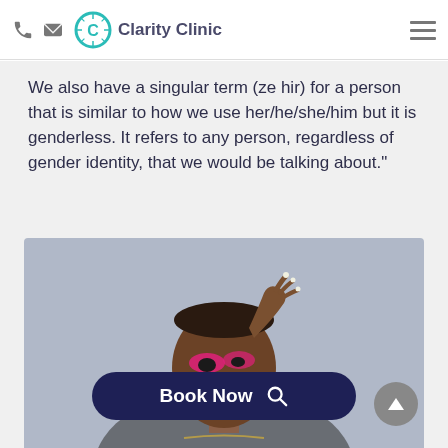Clarity Clinic
We also have a singular term (ze hir) for a person that is similar to how we use her/he/she/him but it is genderless. It refers to any person, regardless of gender identity, that we would be talking about."
[Figure (photo): Person with bold pink eye makeup and decorated nails posing with hand raised to forehead against a grey background]